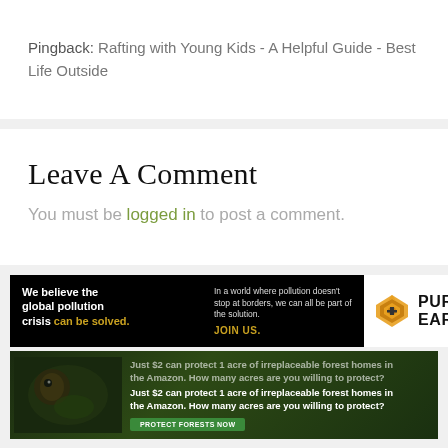Pingback: Rafting with Young Kids - A Helpful Guide - Best Life Outside
Leave A Comment
You must be logged in to post a comment.
[Figure (infographic): Pure Earth advertisement: 'We believe the global pollution crisis can be solved. In a world where pollution doesn't stop at borders, we can all be part of the solution. JOIN US.' with Pure Earth logo.]
[Figure (infographic): Amazon forest conservation ad: 'Just $2 can protect 1 acre of irreplaceable forest homes in the Amazon. How many acres are you willing to protect?' with PROTECT FORESTS NOW button.]